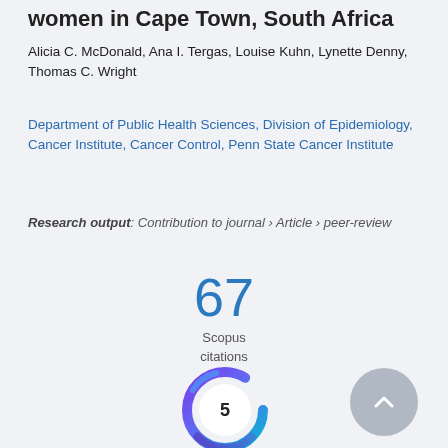women in Cape Town, South Africa
Alicia C. McDonald, Ana I. Tergas, Louise Kuhn, Lynette Denny, Thomas C. Wright
Department of Public Health Sciences, Division of Epidemiology, Cancer Institute, Cancer Control, Penn State Cancer Institute
Research output: Contribution to journal › Article › peer-review
67
Scopus
citations
[Figure (donut-chart): Donut chart with purple/teal gradient showing number 5 in center]